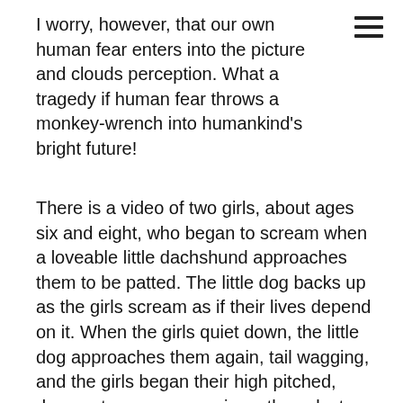I worry, however, that our own human fear enters into the picture and clouds perception. What a tragedy if human fear throws a monkey-wrench into humankind's bright future!
There is a video of two girls, about ages six and eight, who began to scream when a loveable little dachshund approaches them to be patted. The little dog backs up as the girls scream as if their lives depend on it. When the girls quiet down, the little dog approaches them again, tail wagging, and the girls began their high pitched, desperate screams again as they plaster themselves against a garage wall in utter fear.